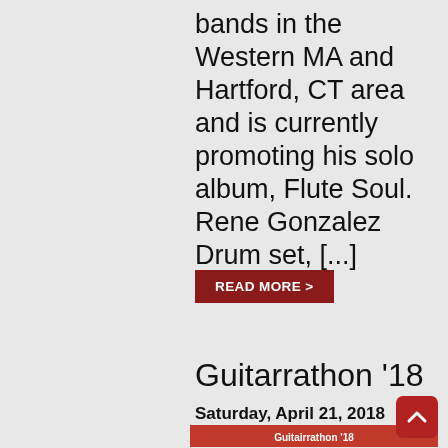bands in the Western MA and Hartford, CT area and is currently promoting his solo album, Flute Soul. Rene Gonzalez Drum set, [...]
READ MORE >
Guitarrathon '18
Saturday, April 21, 2018
[Figure (illustration): Guitarrathon '18 event promotional image showing a red guitar silhouette on dark background with 'Guitairrathon '18' text and photos of four musicians below]